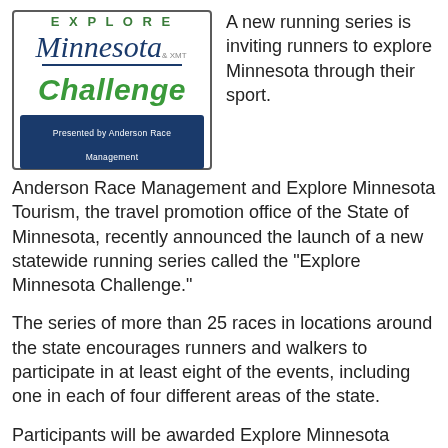[Figure (logo): Explore Minnesota Challenge logo presented by Anderson Race Management. Features 'EXPLORE' in green uppercase letters, 'Minnesota' in blue italic script, a blue underline, '& XMT' small text, 'Challenge' in large green bold italic text, and a blue footer bar reading 'Presented by Anderson Race Management'.]
A new running series is inviting runners to explore Minnesota through their sport.
Anderson Race Management and Explore Minnesota Tourism, the travel promotion office of the State of Minnesota, recently announced the launch of a new statewide running series called the "Explore Minnesota Challenge."
The series of more than 25 races in locations around the state encourages runners and walkers to participate in at least eight of the events, including one in each of four different areas of the state.
Participants will be awarded Explore Minnesota Challenge lapel pins representing the region where they have completed a race. An Explore Minnesota Challenge medal will be awarded to those who complete a total of eight events including one in each of the four designated areas.
Participants who register for the series will also receive